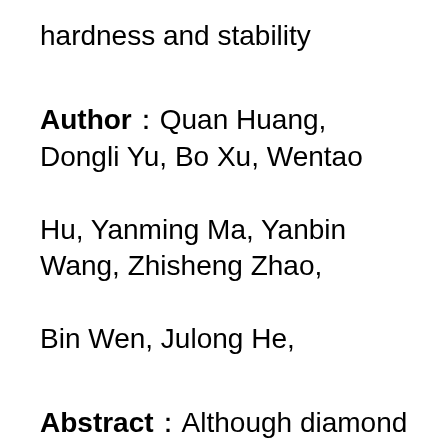hardness and stability
Author：Quan Huang, Dongli Yu, Bo Xu, Wentao Hu, Yanming Ma, Yanbin Wang, Zhisheng Zhao, Bin Wen, Julong He,
Abstract：Although diamond is the hardest material for cutting tools, poor thermal stability